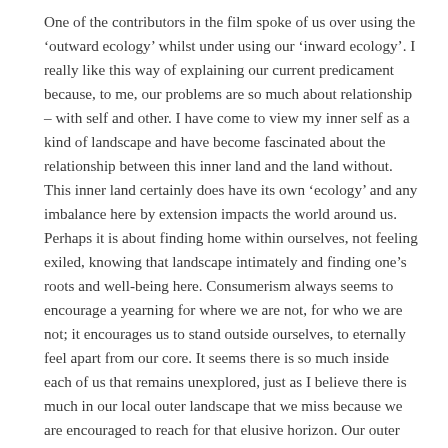One of the contributors in the film spoke of us over using the ‘outward ecology’ whilst under using our ‘inward ecology’. I really like this way of explaining our current predicament because, to me, our problems are so much about relationship – with self and other. I have come to view my inner self as a kind of landscape and have become fascinated about the relationship between this inner land and the land without. This inner land certainly does have its own ‘ecology’ and any imbalance here by extension impacts the world around us. Perhaps it is about finding home within ourselves, not feeling exiled, knowing that landscape intimately and finding one’s roots and well-being here. Consumerism always seems to encourage a yearning for where we are not, for who we are not; it encourages us to stand outside ourselves, to eternally feel apart from our core. It seems there is so much inside each of us that remains unexplored, just as I believe there is much in our local outer landscape that we miss because we are encouraged to reach for that elusive horizon. Our outer resources are intensively exploited and abused, whilst our inner resources are deeply neglected; getting the balance right